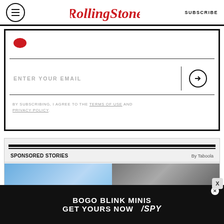RollingStone | SUBSCRIBE
ENTER YOUR EMAIL
BY SUBSCRIBING, I AGREE TO THE TERMS OF USE AND PRIVACY POLICY.
SPONSORED STORIES
By Taboola
[Figure (photo): Two sponsored story images side by side]
[Figure (other): BOGO BLINK MINIS GET YOURS NOW / SPY advertisement banner]